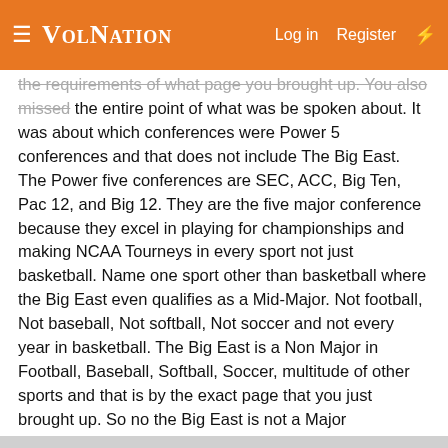VolNation  Log in  Register
the requirements of what page you brought up. You also missed the entire point of what was be spoken about. It was about which conferences were Power 5 conferences and that does not include The Big East. The Power five conferences are SEC, ACC, Big Ten, Pac 12, and Big 12. They are the five major conference because they excel in playing for championships and making NCAA Tourneys in every sport not just basketball. Name one sport other than basketball where the Big East even qualifies as a Mid-Major. Not football, Not baseball, Not softball, Not soccer and not every year in basketball. The Big East is a Non Major in Football, Baseball, Softball, Soccer, multitude of other sports and that is by the exact page that you just brought up. So no the Big East is not a Major Conference because in order to be one you must have teams that are prominent in every sport. You only are prominent in one and that is barley getting three to four teams in the NCAA most seasons.
Volfaninfl2